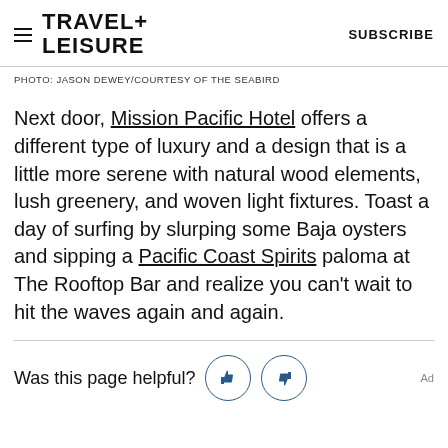TRAVEL+ LEISURE   SUBSCRIBE
PHOTO: JASON DEWEY/COURTESY OF THE SEABIRD
Next door, Mission Pacific Hotel offers a different type of luxury and a design that is a little more serene with natural wood elements, lush greenery, and woven light fixtures. Toast a day of surfing by slurping some Baja oysters and sipping a Pacific Coast Spirits paloma at The Rooftop Bar and realize you can't wait to hit the waves again and again.
Was this page helpful?